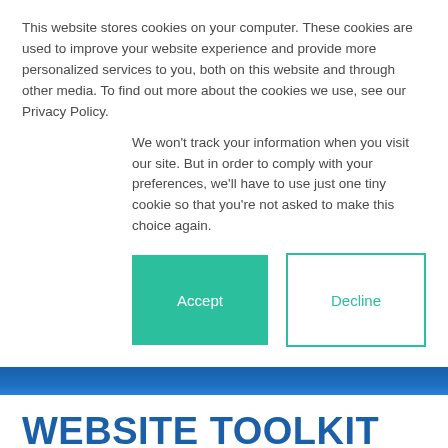This website stores cookies on your computer. These cookies are used to improve your website experience and provide more personalized services to you, both on this website and through other media. To find out more about the cookies we use, see our Privacy Policy.
We won't track your information when you visit our site. But in order to comply with your preferences, we'll have to use just one tiny cookie so that you're not asked to make this choice again.
Accept
Decline
WEBSITE TOOLKIT
Thursdays, March 31, April 7, 14, 21, 28
12:00 - 1:30PM ET
$200
Your website is the face of your organization, but